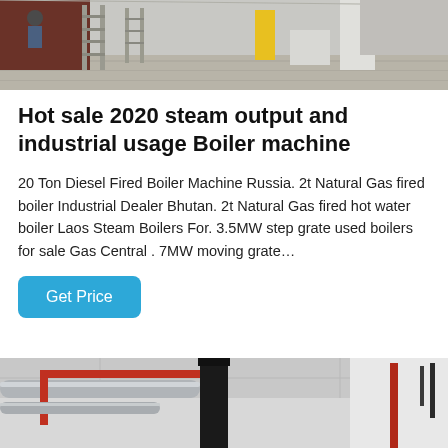[Figure (photo): Industrial factory floor with ladders, scaffolding, grey floor, workers, and equipment visible in background]
Hot sale 2020 steam output and industrial usage Boiler machine
20 Ton Diesel Fired Boiler Machine Russia. 2t Natural Gas fired boiler Industrial Dealer Bhutan. 2t Natural Gas fired hot water boiler Laos Steam Boilers For. 3.5MW step grate used boilers for sale Gas Central . 7MW moving grate…
Get Price
[Figure (photo): Industrial boiler room interior with silver and red pipes near ceiling, black chimney stack, white walls]